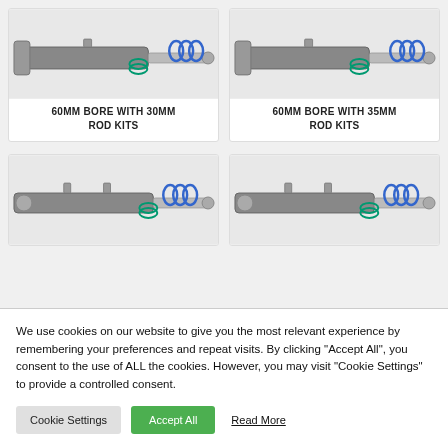[Figure (photo): Hydraulic cylinder seal kit photo - 60MM BORE WITH 30MM ROD KITS]
[Figure (photo): Hydraulic cylinder seal kit photo - 60MM BORE WITH 35MM ROD KITS]
[Figure (photo): Hydraulic cylinder seal kit photo - lower left card]
[Figure (photo): Hydraulic cylinder seal kit photo - lower right card]
We use cookies on our website to give you the most relevant experience by remembering your preferences and repeat visits. By clicking "Accept All", you consent to the use of ALL the cookies. However, you may visit "Cookie Settings" to provide a controlled consent.